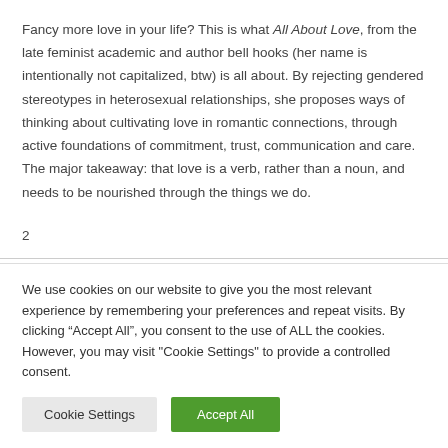Fancy more love in your life? This is what All About Love, from the late feminist academic and author bell hooks (her name is intentionally not capitalized, btw) is all about. By rejecting gendered stereotypes in heterosexual relationships, she proposes ways of thinking about cultivating love in romantic connections, through active foundations of commitment, trust, communication and care. The major takeaway: that love is a verb, rather than a noun, and needs to be nourished through the things we do.
2
We use cookies on our website to give you the most relevant experience by remembering your preferences and repeat visits. By clicking “Accept All”, you consent to the use of ALL the cookies. However, you may visit "Cookie Settings" to provide a controlled consent.